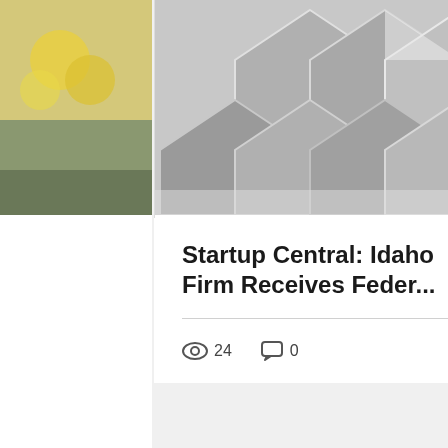[Figure (photo): Partial left card with yellow flowers image]
[Figure (photo): 3D printed geometric diamond/hexagon mesh structure in gray tones]
Startup Central: Idaho Firm Receives Feder...
24  0  [heart icon]
[Figure (photo): Partial right card with industrial/machinery image]
[Figure (photo): Footer background: lake/mountain scenic photo with evergreen tree silhouettes and power lines]
CONTACT US
208-667-4753
josh@cdaedc.org
loren@cdaedc.org
[Figure (logo): Social media icons: Facebook, LinkedIn, Twitter]